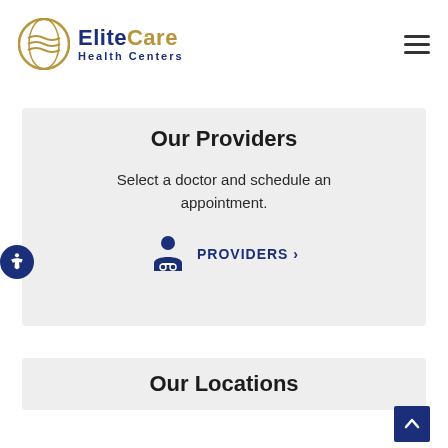[Figure (logo): EliteCare Health Centers logo with circular emblem and blue/gold text]
Our Providers
Select a doctor and schedule an appointment.
PROVIDERS ›
Our Locations